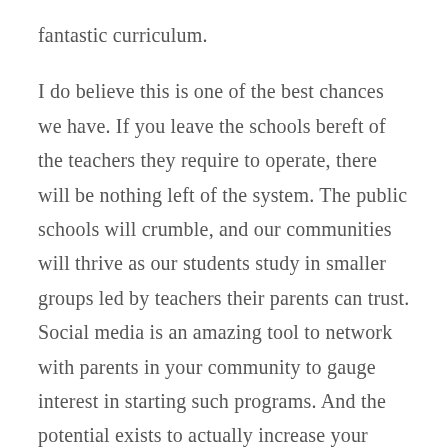fantastic curriculum.

I do believe this is one of the best chances we have. If you leave the schools bereft of the teachers they require to operate, there will be nothing left of the system. The public schools will crumble, and our communities will thrive as our students study in smaller groups led by teachers their parents can trust. Social media is an amazing tool to network with parents in your community to gauge interest in starting such programs. And the potential exists to actually increase your earning potential. (My sister is a second-grade teacher, and I had once desired to be a high school English teacher—I know how little teachers are paid. And before you ask, I